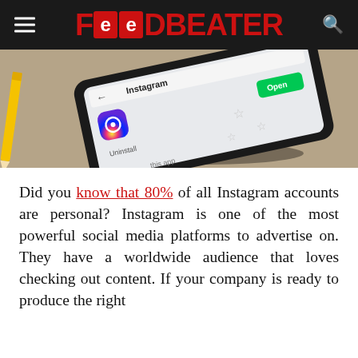FEEDBEATER
[Figure (photo): A smartphone displaying the Instagram app page on the Google Play Store, showing the Instagram logo, app name, and an 'Open' button in green. The phone is placed at an angle on a surface, with a yellow pencil visible to the left.]
Did you know that 80% of all Instagram accounts are personal? Instagram is one of the most powerful social media platforms to advertise on. They have a worldwide audience that loves checking out content. If your company is ready to produce the right